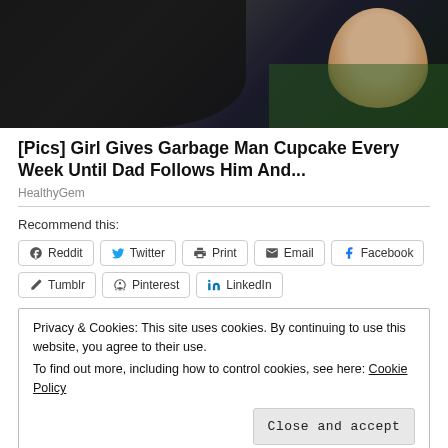[Figure (photo): Photo of a child and a dark-coated dog or person, outdoors with green background]
[Pics] Girl Gives Garbage Man Cupcake Every Week Until Dad Follows Him And...
HealthyGem
Recommend this:
Reddit  Twitter  Print  Email  Facebook  Tumblr  Pinterest  LinkedIn
Privacy & Cookies: This site uses cookies. By continuing to use this website, you agree to their use.
To find out more, including how to control cookies, see here: Cookie Policy
Close and accept
Related